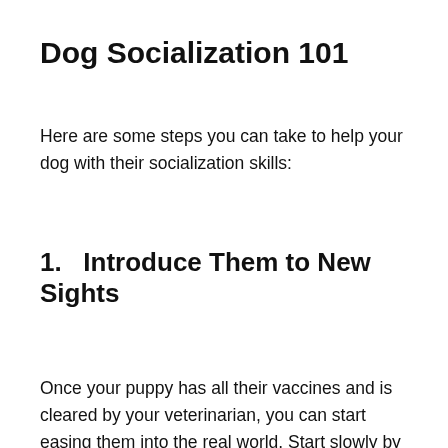Dog Socialization 101
Here are some steps you can take to help your dog with their socialization skills:
1.   Introduce Them to New Sights
Once your puppy has all their vaccines and is cleared by your veterinarian, you can start easing them into the real world. Start slowly by exposing them to new sights. You can walk them around your yard, your neighborhood, and other surrounding areas to get